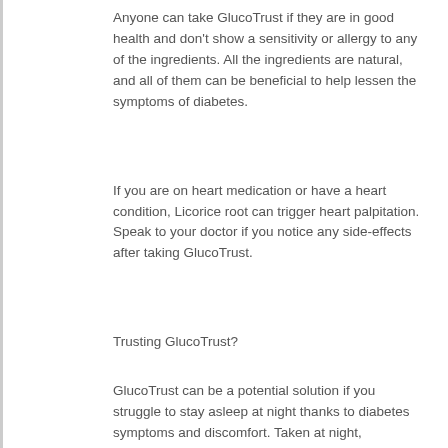Anyone can take GlucoTrust if they are in good health and don't show a sensitivity or allergy to any of the ingredients. All the ingredients are natural, and all of them can be beneficial to help lessen the symptoms of diabetes.
If you are on heart medication or have a heart condition, Licorice root can trigger heart palpitation. Speak to your doctor if you notice any side-effects after taking GlucoTrust.
Trusting GlucoTrust?
GlucoTrust can be a potential solution if you struggle to stay asleep at night thanks to diabetes symptoms and discomfort. Taken at night,
GlucoTrust works to halt blood pressure and blood sugar fluctuation to ensure a great night's sleep.